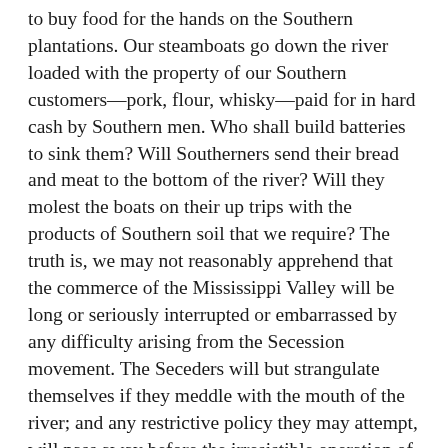to buy food for the hands on the Southern plantations. Our steamboats go down the river loaded with the property of our Southern customers—pork, flour, whisky—paid for in hard cash by Southern men. Who shall build batteries to sink them? Will Southerners send their bread and meat to the bottom of the river? Will they molest the boats on their up trips with the products of Southern soil that we require? The truth is, we may not reasonably apprehend that the commerce of the Mississippi Valley will be long or seriously interrupted or embarrassed by any difficulty arising from the Secession movement. The Seceders will but strangulate themselves if they meddle with the mouth of the river; and any restrictive policy they may attempt, will pass away before the irresistible operation of the commercial forces set in motion by the productive industry of the Northern and Southern States—the interchange of the products of the respective sections, being a necessity as far beyond the control of the madmen or fools who would restrain it,